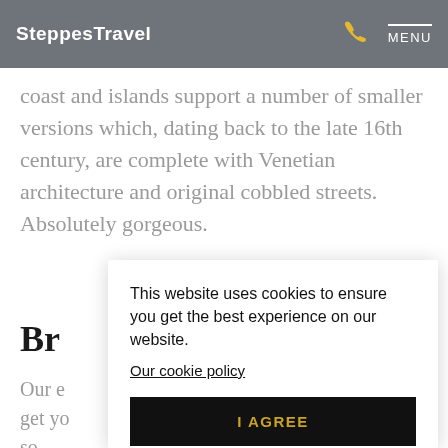SteppesTravel  MENU
coast and islands support a number of smaller versions which, dating back to the late 16th century, are complete with Venetian architecture and original cobbled streets. Absolutely gorgeous.
Br
Our e … get yo … so
This website uses cookies to ensure you get the best experience on our website.
Our cookie policy
I AGREE